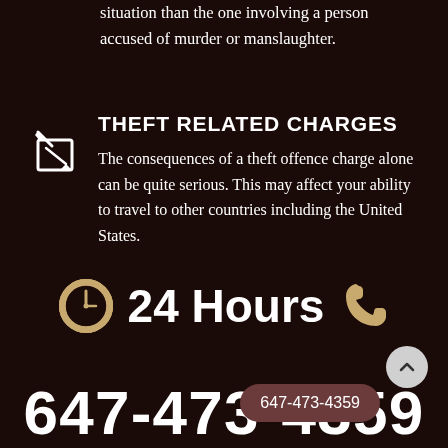situation than the one involving a person accused of murder or manslaughter.
THEFT RELATED CHARGES
The consequences of a theft offence charge alone can be quite serious. This may affect your ability to travel to other countries including the United States.
[Figure (infographic): Clock icon and phone icon flanking '24 Hours' text in white on dark background with gold/tan colored icons]
647-473-4359